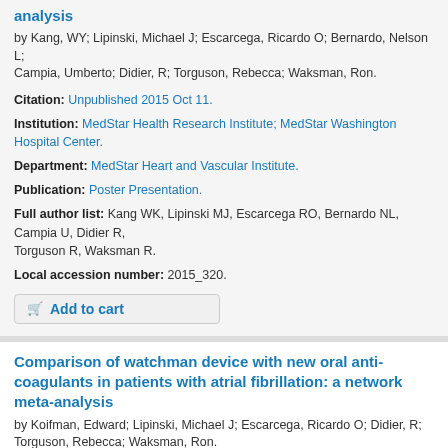analysis
by Kang, WY; Lipinski, Michael J; Escarcega, Ricardo O; Bernardo, Nelson L; Campia, Umberto; Didier, R; Torguson, Rebecca; Waksman, Ron.
Citation: Unpublished 2015 Oct 11.
Institution: MedStar Health Research Institute; MedStar Washington Hospital Center.
Department: MedStar Heart and Vascular Institute.
Publication: Poster Presentation.
Full author list: Kang WK, Lipinski MJ, Escarcega RO, Bernardo NL, Campia U, Didier R, Torguson R, Waksman R.
Local accession number: 2015_320.
Add to cart
Comparison of watchman device with new oral anti-coagulants in patients with atrial fibrillation: a network meta-analysis
by Koifman, Edward; Lipinski, Michael J; Escarcega, Ricardo O; Didier, R; Torguson, Rebecca; Waksman, Ron.
Citation: Unpublished 2015 Oct 11.
Institution: MedStar Health Research Institute; MedStar Washington Hospital Center.
Department: MedStar Heart and Vascular Institute.
Publication: Poster Presentation.